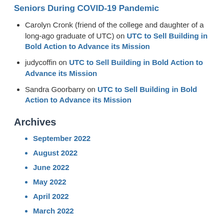Seniors During COVID-19 Pandemic
Carolyn Cronk (friend of the college and daughter of a long-ago graduate of UTC) on UTC to Sell Building in Bold Action to Advance its Mission
judycoffin on UTC to Sell Building in Bold Action to Advance its Mission
Sandra Goorbarry on UTC to Sell Building in Bold Action to Advance its Mission
Archives
September 2022
August 2022
June 2022
May 2022
April 2022
March 2022